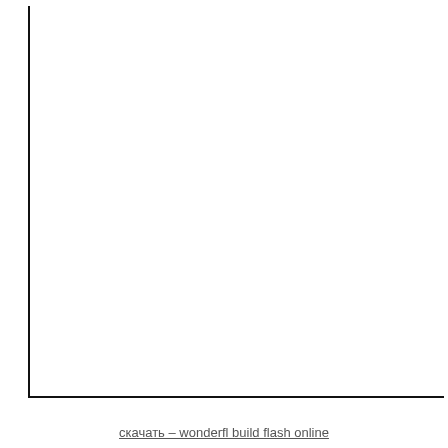скачать – wonderfl build flash online